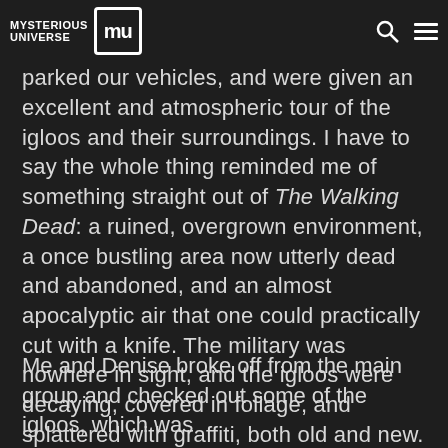Mysterious Universe
plant, we all followed John and Tim to a specific stretch of wooded ground, parked our vehicles, and were given an excellent and atmospheric tour of the igloos and their surroundings. I have to say the whole thing reminded me of something straight out of The Walking Dead: a ruined, overgrown environment, a once bustling area now utterly dead and abandoned, and an almost apocalyptic air that one could practically cut with a knife. The military was nowhere in sight, and the igloos were decaying, covered in foliage, and splattered with graffiti, both old and new.
Me and Denise broke off from the main group and checked out some of the igloos, which was